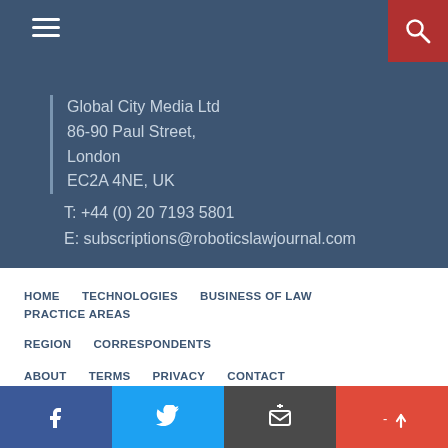Global City Media Ltd
86-90 Paul Street,
London
EC2A 4NE, UK
T: +44 (0) 20 7193 5801
E: subscriptions@roboticslawjournal.com
HOME
TECHNOLOGIES
BUSINESS OF LAW
PRACTICE AREAS
REGION
CORRESPONDENTS
ABOUT
TERMS
PRIVACY
CONTACT
Your experience on this site will be improved by allowing cookies.